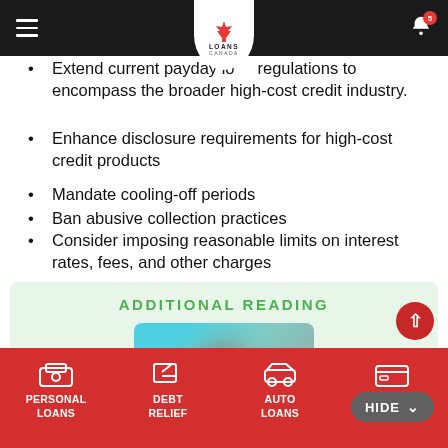Loans Canada
Extend current payday loan regulations to encompass the broader high-cost credit industry.
Enhance disclosure requirements for high-cost credit products
Mandate cooling-off periods
Ban abusive collection practices
Consider imposing reasonable limits on interest rates, fees, and other charges
ADDITIONAL READING
[Figure (photo): A blurred promotional image card in teal/aqua gradient colors within the Additional Reading section]
PERSONAL LOANS | DEBT RELIEF | AUTO LOANS | CREDIT SCORE